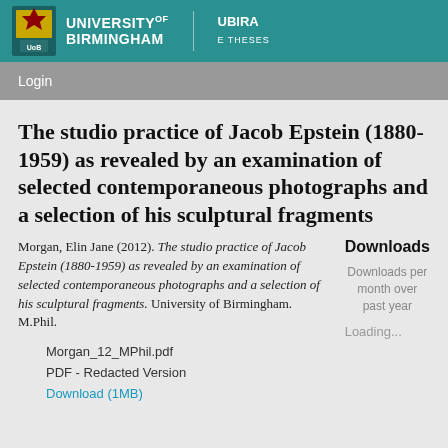[Figure (logo): University of Birmingham and UBIRA E Theses logo on teal header bar]
Login
The studio practice of Jacob Epstein (1880-1959) as revealed by an examination of selected contemporaneous photographs and a selection of his sculptural fragments
Morgan, Elin Jane (2012). The studio practice of Jacob Epstein (1880-1959) as revealed by an examination of selected contemporaneous photographs and a selection of his sculptural fragments. University of Birmingham. M.Phil.
Downloads
Downloads per month over past year
Loading...
Morgan_12_MPhil.pdf
PDF - Redacted Version
Download (1MB)